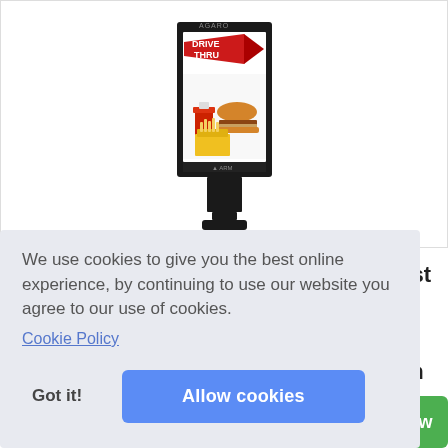[Figure (photo): A digital outdoor kiosk/signage display showing a 'Drive Thru' advertisement with fast food imagery (burger, fries, drink). The kiosk has a dark frame and a pole/stand base. Brand text 'AGARO' and 'ARM' visible on the unit.]
We use cookies to give you the best online experience, by continuing to use our website you agree to our use of cookies.
Cookie Policy
Got it!
Allow cookies
ust
al
an
d...
iew